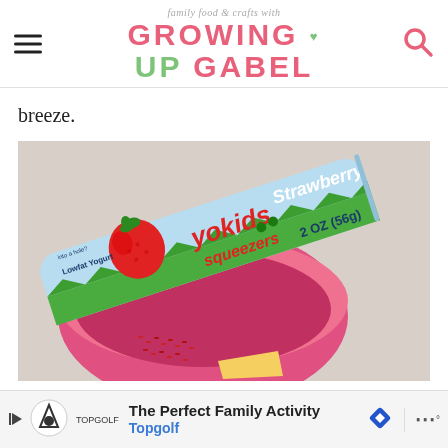family food & crafts with GROWING UP GABEL
breeze.
[Figure (photo): A YoKids Squeezers Strawberry 2 OZ (56g) lowfat yogurt tube resting on a pink bowl containing red candy and a piece of cheese on a light surface.]
The Perfect Family Activity Topgolf